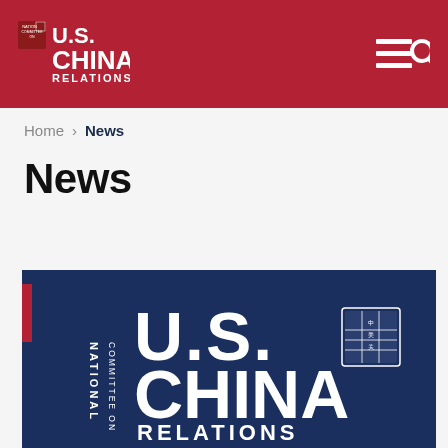National Committee on U.S.-China Relations
Home > News
News
[Figure (logo): National Committee on U.S.-China Relations logo on dark navy blue background]